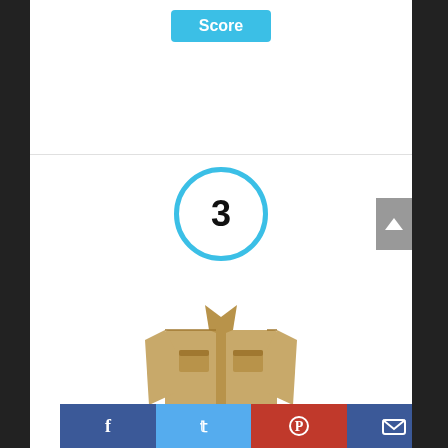Score
[Figure (other): Number 3 inside a cyan circle, indicating rank #3]
[Figure (photo): Product photo of a tan/khaki men's military long-sleeve button shirt (Amazon Brand – Goodthreads)]
Amazon Brand – Goodthreads Men's Military
Facebook | Twitter | Pinterest | Email